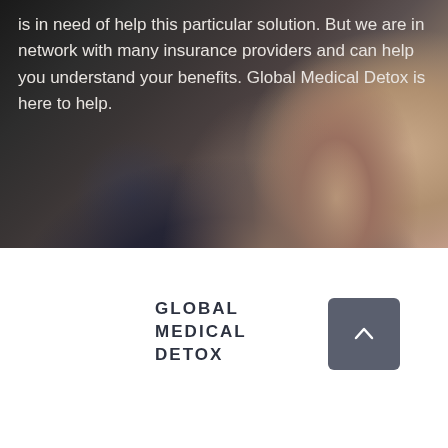[Figure (photo): A person in dark clothing, head bowed down with hand on forehead, sitting at a desk or table. The image is dark and moody, suggesting distress or stress.]
is in need of help this particular solution. But we are in network with many insurance providers and can help you understand your benefits. Global Medical Detox is here to help.
GLOBAL MEDICAL DETOX